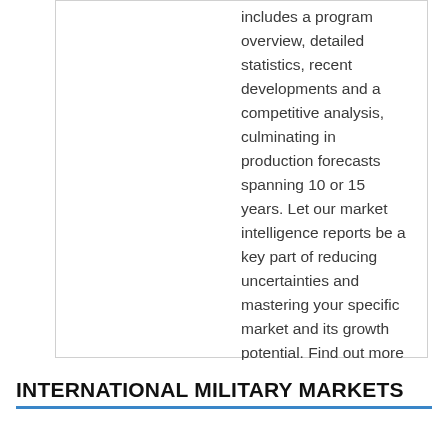includes a program overview, detailed statistics, recent developments and a competitive analysis, culminating in production forecasts spanning 10 or 15 years. Let our market intelligence reports be a key part of reducing uncertainties and mastering your specific market and its growth potential. Find out more at www.forecastinternational.com
View all posts by Forecast International →
INTERNATIONAL MILITARY MARKETS